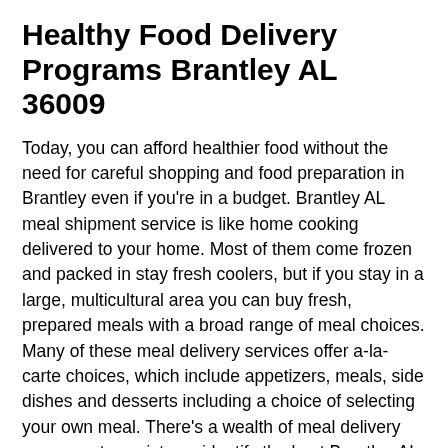Healthy Food Delivery Programs Brantley AL 36009
Today, you can afford healthier food without the need for careful shopping and food preparation in Brantley even if you're in a budget. Brantley AL meal shipment service is like home cooking delivered to your home. Most of them come frozen and packed in stay fresh coolers, but if you stay in a large, multicultural area you can buy fresh, prepared meals with a broad range of meal choices. Many of these meal delivery services offer a-la-carte choices, which include appetizers, meals, side dishes and desserts including a choice of selecting your own meal. There's a wealth of meal delivery assesses to assist you identify the best Brantley AL online food delivery services to consider. Considering that all meal delivery services have some type of guarantee, check the terms and conditions carefully. Plan term will certainly vary from company to company so assess the business by looking for food delivery examines from pleased customers. Take the time to compare each service's...